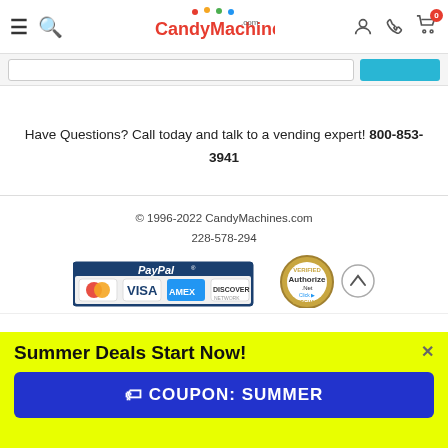CandyMachines.com
Have Questions? Call today and talk to a vending expert! 800-853-3941
© 1996-2022 CandyMachines.com
228-578-294
[Figure (logo): PayPal payment banner with MasterCard, Visa, Amex, Discover cards and Authorize.Net Verified Merchant seal]
Summer Deals Start Now!
COUPON: SUMMER